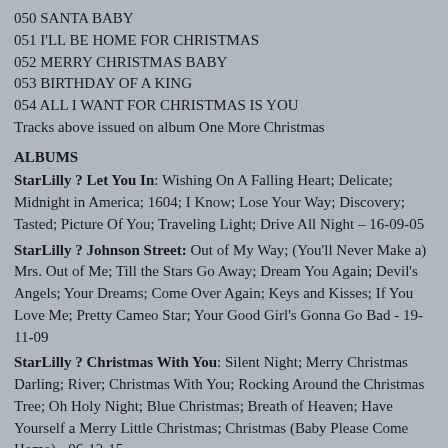050 SANTA BABY
051 I'LL BE HOME FOR CHRISTMAS
052 MERRY CHRISTMAS BABY
053 BIRTHDAY OF A KING
054 ALL I WANT FOR CHRISTMAS IS YOU
Tracks above issued on album One More Christmas
ALBUMS
StarLilly ? Let You In: Wishing On A Falling Heart; Delicate; Midnight in America; 1604; I Know; Lose Your Way; Discovery; Tasted; Picture Of You; Traveling Light; Drive All Night – 16-09-05
StarLilly ? Johnson Street: Out of My Way; (You'll Never Make a) Mrs. Out of Me; Till the Stars Go Away; Dream You Again; Devil's Angels; Your Dreams; Come Over Again; Keys and Kisses; If You Love Me; Pretty Cameo Star; Your Good Girl's Gonna Go Bad - 19-11-09
StarLilly ? Christmas With You: Silent Night; Merry Christmas Darling; River; Christmas With You; Rocking Around the Christmas Tree; Oh Holy Night; Blue Christmas; Breath of Heaven; Have Yourself a Merry Little Christmas; Christmas (Baby Please Come Home) - 06-12-15